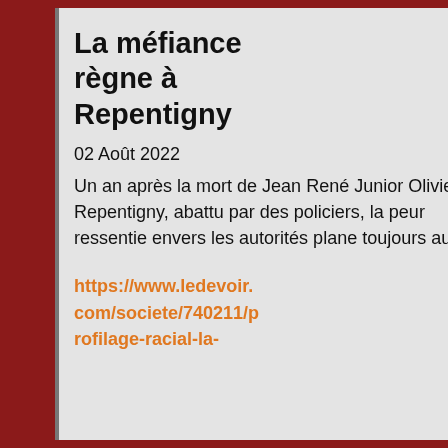La méfiance règne à Repentigny
02 Août 2022
Un an après la mort de Jean René Junior Olivier à Repentigny, abattu par des policiers, la peur ressentie envers les autorités plane toujours au se
https://www.ledevoir.com/societe/740211/profilage-racial-la-